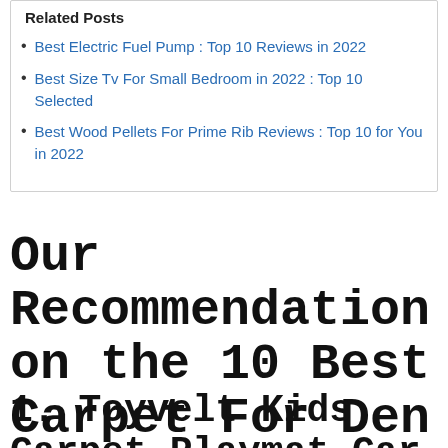Related Posts
Best Electric Fuel Pump : Top 10 Reviews in 2022
Best Size Tv For Small Bedroom in 2022 : Top 10 Selected
Best Wood Pellets For Prime Rib Reviews : Top 10 for You in 2022
Our Recommendation on the 10 Best Carpet For Den
1. Toyvelt Kids Carpet Playmat Car Rug – City